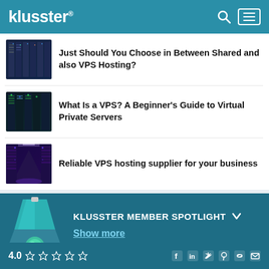klusster® [search icon] [menu icon]
[Figure (photo): Server rack room thumbnail image - dark with blue lighting]
Just Should You Choose in Between Shared and also VPS Hosting?
[Figure (photo): Server room with green and blue lighting - second thumbnail]
What Is a VPS? A Beginner's Guide to Virtual Private Servers
[Figure (photo): Data center corridor with blue/purple lighting - third thumbnail]
Reliable VPS hosting supplier for your business
[Figure (illustration): Spotlight lamp icon illustration on teal background]
KLUSSTER MEMBER SPOTLIGHT
Show more
4.0 ☆☆☆☆☆ [social icons: Facebook, LinkedIn, Twitter, Pinterest, Link, Email]